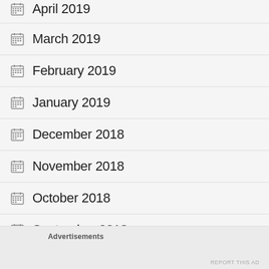April 2019
March 2019
February 2019
January 2019
December 2018
November 2018
October 2018
September 2018
Advertisements
REPORT THIS AD